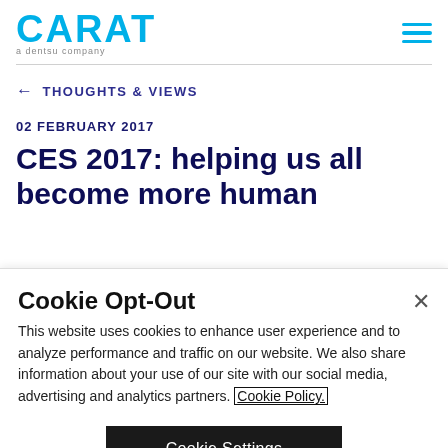CARAT a dentsu company
← THOUGHTS & VIEWS
02 FEBRUARY 2017
CES 2017: helping us all become more human
Cookie Opt-Out
This website uses cookies to enhance user experience and to analyze performance and traffic on our website. We also share information about your use of our site with our social media, advertising and analytics partners. Cookie Policy.
Cookie Settings